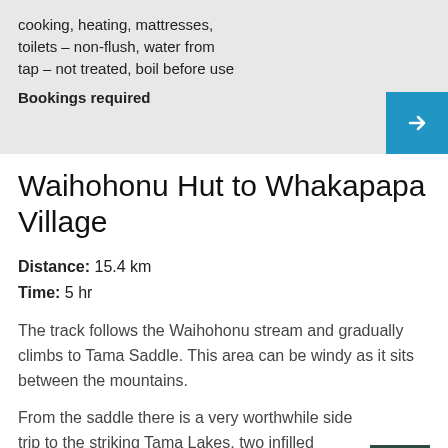cooking, heating, mattresses, toilets – non-flush, water from tap – not treated, boil before use
Bookings required
Waihohonu Hut to Whakapapa Village
Distance: 15.4 km
Time: 5 hr
The track follows the Waihohonu stream and gradually climbs to Tama Saddle. This area can be windy as it sits between the mountains.
From the saddle there is a very worthwhile side trip to the striking Tama Lakes, two infilled explosion craters. The lower lake is only 10 minutes from